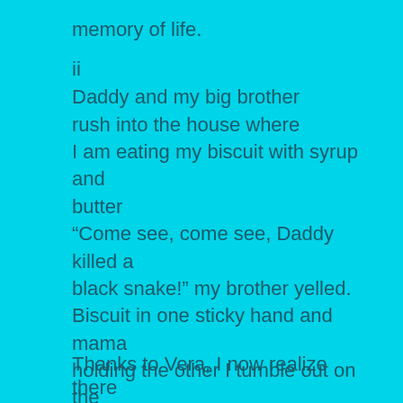memory of life.
ii
Daddy and my big brother
rush into the house where
I am eating my biscuit with syrup and butter
“Come see, come see, Daddy killed a black snake!” my brother yelled.
Biscuit in one sticky hand and mama holding the other I tumble out on the front porch to see a long black snake at the base of the steps neatly chopped into twelve bloody pieces. I peer over the edge down
the three feet to the dirt
and finish my biscuit.
Thanks to Vera, I now realize there